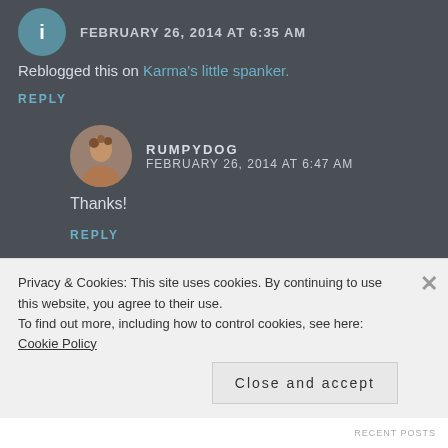FEBRUARY 26, 2014 AT 6:35 AM
Reblogged this on Karma's little spanker.
REPLY
RUMPYDOG
FEBRUARY 26, 2014 AT 6:47 AM
Thanks!
REPLY
Privacy & Cookies: This site uses cookies. By continuing to use this website, you agree to their use.
To find out more, including how to control cookies, see here: Cookie Policy
Close and accept